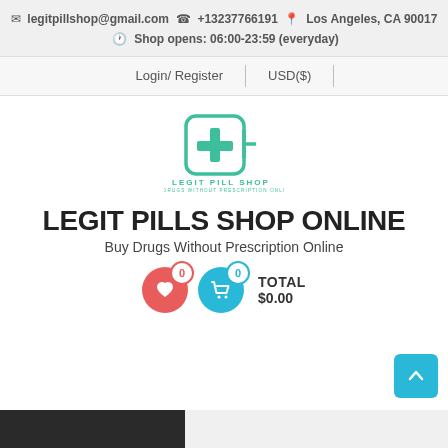✉ legitpillshop@gmail.com ☎ +13237766191 📍 Los Angeles, CA 90017 🕐 Shop opens: 06:00-23:59 (everyday)
Login/ Register | USD($)
[Figure (logo): Legit Pill Shop logo with green medical cross icon and text LEGIT PILL SHOP / BUY DRUGS WITHOUT PRESCRIPTION ONLINE]
LEGIT PILLS SHOP ONLINE
Buy Drugs Without Prescription Online
TOTAL $0.00